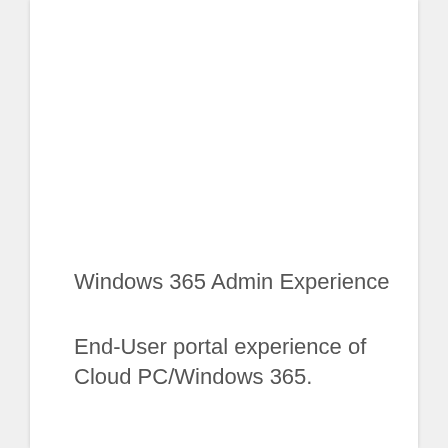Windows 365 Admin Experience
End-User portal experience of Cloud PC/Windows 365.